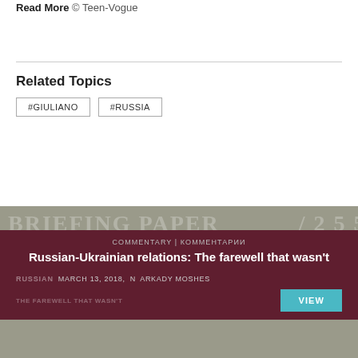Read More © Teen-Vogue
Related Topics
#GIULIANO
#RUSSIA
[Figure (other): Card preview for article: Russian-Ukrainian relations: The farewell that wasn't. Shows briefing paper background with dark red overlay, category label COMMENTARY | КОММЕНТАРИИ, title, date MARCH 13, 2018, author ARKADY MOSHES, and a VIEW button.]